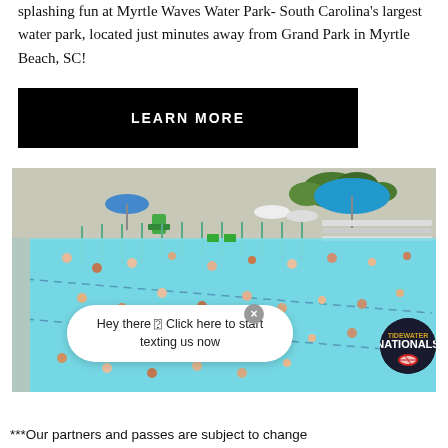splashing fun at Myrtle Waves Water Park- South Carolina's largest water park, located just minutes away from Grand Park in Myrtle Beach, SC!
LEARN MORE
[Figure (photo): Aerial view of a crowded outdoor water park pool with many swimmers, lounge chairs, umbrellas, and greenery in the background. A chat bubble overlay reads 'Hey there 👋 Click here to start texting us now' with a close button and a Nationals logo badge.]
***Our partners and passes are subject to change